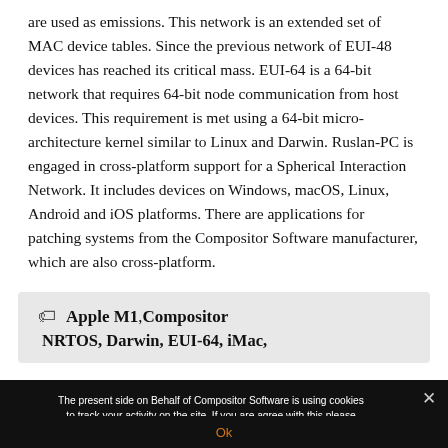are used as emissions. This network is an extended set of MAC device tables. Since the previous network of EUI-48 devices has reached its critical mass. EUI-64 is a 64-bit network that requires 64-bit node communication from host devices. This requirement is met using a 64-bit micro-architecture kernel similar to Linux and Darwin. Ruslan-PC is engaged in cross-platform support for a Spherical Interaction Network. It includes devices on Windows, macOS, Linux, Android and iOS platforms. There are applications for patching systems from the Compositor Software manufacturer, which are also cross-platform.
Apple M1, Compositor NRTOS, Darwin, EUI-64, iMac,
The present side on Behalf of Compositor Software is using cookies to track your activity on the site. If you are agree with this please accept the following notice and continue using the site.
Ok